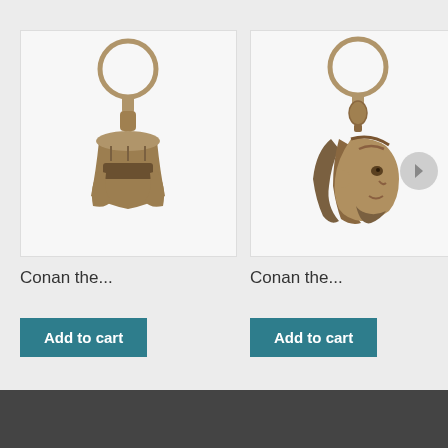[Figure (screenshot): E-commerce product listing page showing two Conan the... keychains (metallic bronze/silver finish) with 'Add to cart' buttons, and a partially visible third product on the right edge. A navigation arrow is visible on the right side. The bottom portion of the page has a dark gray footer area.]
Conan the...
Add to cart
Conan the...
Add to cart
Co